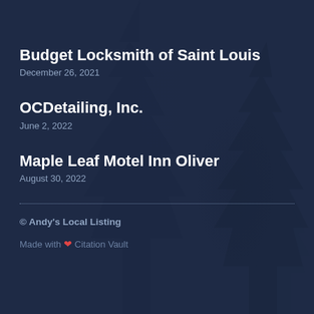Budget Locksmith of Saint Louis
December 26, 2021
OCDetailing, Inc.
June 2, 2022
Maple Leaf Motel Inn Oliver
August 30, 2022
© Andy's Local Listing
Made with ❤ Citation Vault